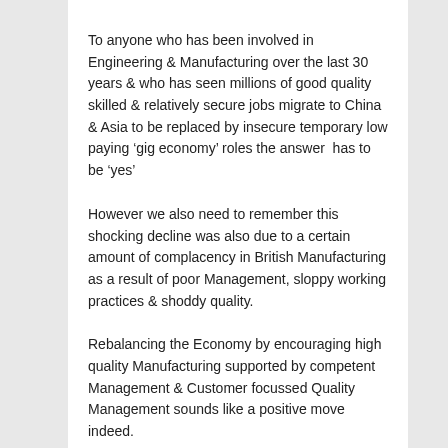To anyone who has been involved in Engineering & Manufacturing over the last 30 years & who has seen millions of good quality skilled & relatively secure jobs migrate to China & Asia to be replaced by insecure temporary low paying ‘gig economy’ roles the answer  has to be ‘yes’
However we also need to remember this shocking decline was also due to a certain amount of complacency in British Manufacturing as a result of poor Management, sloppy working practices & shoddy quality.
Rebalancing the Economy by encouraging high quality Manufacturing supported by competent Management & Customer focussed Quality Management sounds like a positive move indeed.
Chris Robinson
www.amberhill.biz